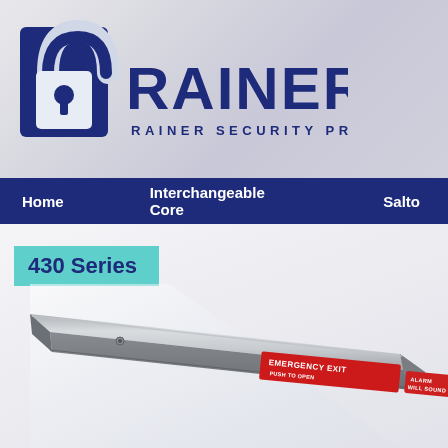[Figure (logo): Rainer Security Products logo — stylized lock icon beside bold RAINER text with tagline RAINER SECURITY PRODUCTS]
Home   Interchangeable Core   Salto
430 Series
[Figure (photo): Close-up photo of a grey metal door exit bar / panic bar labeled EMERGENCY EXIT PUSH TO OPEN and ALARM WILL SOUND on a red label]